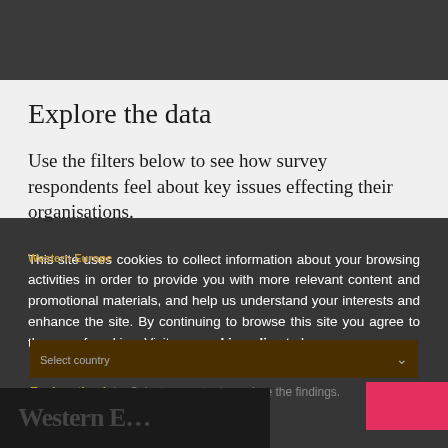Explore the data
Use the filters below to see how survey respondents feel about key issues effecting their organisations.
This site uses cookies to collect information about your browsing activities in order to provide you with more relevant content and promotional materials, and help us understand your interests and enhance the site. By continuing to browse this site you agree to the use of cookies. Visit our cookie policy to learn more.
Western Europe
Select country
Explore the data. Select a country to explore the findings.
Western E…